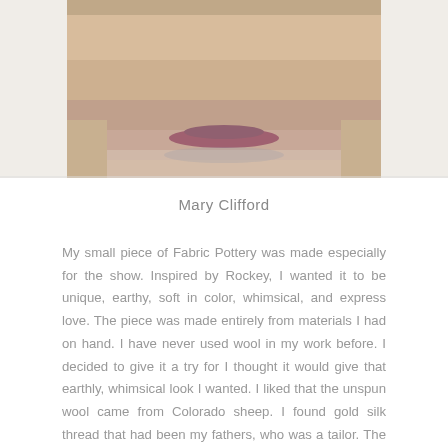[Figure (photo): Cropped close-up photo of a person's lower face/chin area, showing skin tones and lips, positioned at the top of the page]
Mary Clifford
My small piece of Fabric Pottery was made especially for the show. Inspired by Rockey, I wanted it to be unique, earthy, soft in color, whimsical, and express love. The piece was made entirely from materials I had on hand. I have never used wool in my work before. I decided to give it a try for I thought it would give that earthly, whimsical look I wanted. I liked that the unspun wool came from Colorado sheep. I found gold silk thread that had been my fathers, who was a tailor. The thread was on a wood spool and wood spools have not been used since the 1970s. To express love, I make every heart unique using pieces of ribbon, trim, and beads that have been saved over